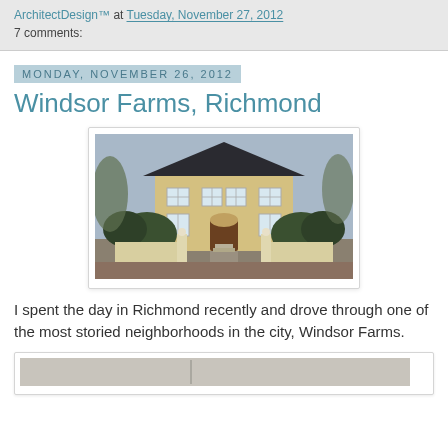ArchitectDesign™ at Tuesday, November 27, 2012
7 comments:
Monday, November 26, 2012
Windsor Farms, Richmond
[Figure (photo): A two-story yellow manor house with a dark hip roof, white-trimmed windows, and a formal entrance with a low white wall and gate flanked by hedges and ornamental posts]
I spent the day in Richmond recently and drove through one of the most storied neighborhoods in the city, Windsor Farms.
[Figure (photo): Partially visible second photo at bottom of page]